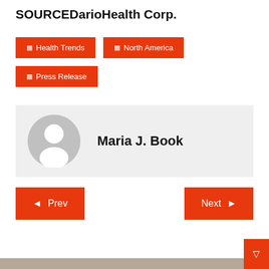SOURCEDarioHealth Corp.
☰ Health Trends
☰ North America
☰ Press Release
[Figure (illustration): Author avatar placeholder: gray circle with white silhouette figure, next to author name 'Maria J. Book']
Maria J. Book
◀ Prev
Next ▶